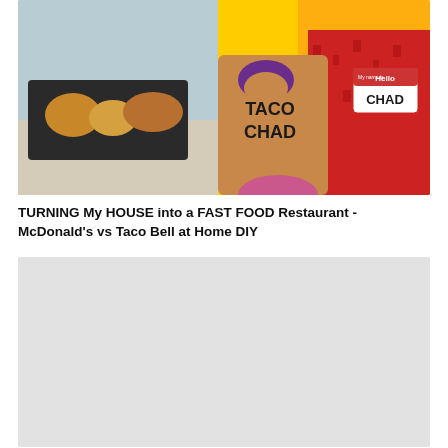[Figure (photo): Thumbnail image showing a Taco Bell themed scene. A person in a red patterned shirt wearing a name tag reading 'CHAD' stands next to a brown paper bag labeled 'TACO CHAD' with the Taco Bell logo. Food items visible on a tray in the background.]
TURNING My HOUSE into a FAST FOOD Restaurant - McDonald's vs Taco Bell at Home DIY
[Figure (photo): Thumbnail image placeholder - light gray rectangle, image not loaded.]
If You LIE = Get SHOCKED